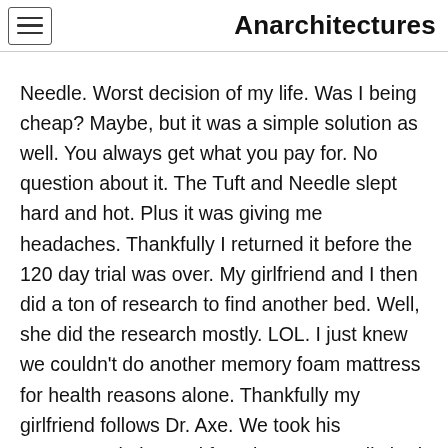Anarchitectures
Needle. Worst decision of my life. Was I being cheap? Maybe, but it was a simple solution as well. You always get what you pay for. No question about it. The Tuft and Needle slept hard and hot. Plus it was giving me headaches. Thankfully I returned it before the 120 day trial was over. My girlfriend and I then did a ton of research to find another bed. Well, she did the research mostly. LOL. I just knew we couldn't do another memory foam mattress for health reasons alone. Thankfully my girlfriend follows Dr. Axe. We took his recommendation and found a Naturepedic bed shop. We tried a ton of beds but eventually went with the Cal King EOS. It took a bit of time to arrive at my house, but it was right around Thanksgiving so I can't complain much about